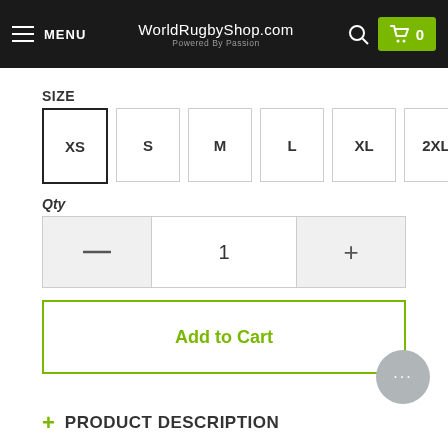MENU | WorldRugbyShop.com | Powered By Passion | 0
SIZE
XS S M L XL 2XL
Qty
1
Add to Cart
+ PRODUCT DESCRIPTION